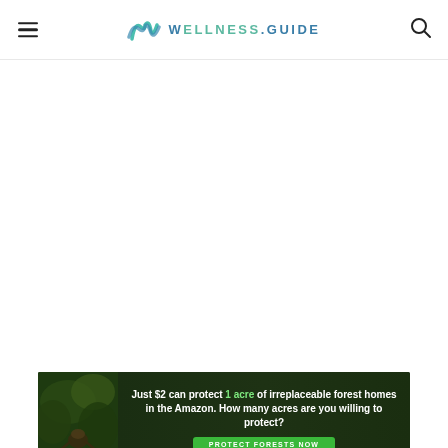WELLNESS.GUIDE
[Figure (screenshot): Empty white content area below header]
[Figure (infographic): Advertisement banner with dark forest background showing a sloth/animal, text: 'Just $2 can protect 1 acre of irreplaceable forest homes in the Amazon. How many acres are you willing to protect?' with a green 'PROTECT FORESTS NOW' button]